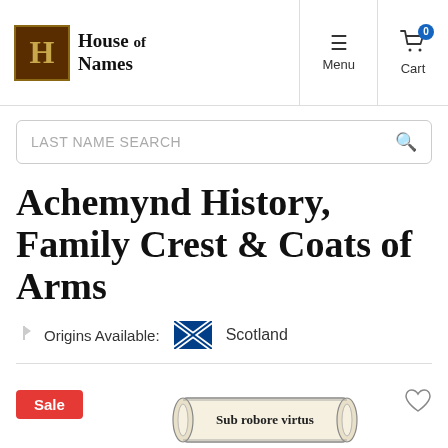[Figure (logo): House of Names logo with gothic H in brown box and brand name in gothic font]
[Figure (screenshot): Navigation bar with Menu (hamburger) and Cart (0 items) icons]
[Figure (screenshot): Last Name Search search bar with magnifying glass icon]
Achemynd History, Family Crest & Coats of Arms
Origins Available: Scotland
[Figure (illustration): Scroll banner with text 'Sub robore virtus' and Sale badge, heart icon on right]